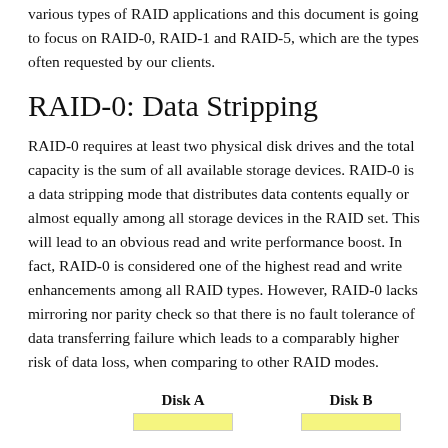various types of RAID applications and this document is going to focus on RAID-0, RAID-1 and RAID-5, which are the types often requested by our clients.
RAID-0: Data Stripping
RAID-0 requires at least two physical disk drives and the total capacity is the sum of all available storage devices. RAID-0 is a data stripping mode that distributes data contents equally or almost equally among all storage devices in the RAID set. This will lead to an obvious read and write performance boost. In fact, RAID-0 is considered one of the highest read and write enhancements among all RAID types. However, RAID-0 lacks mirroring nor parity check so that there is no fault tolerance of data transferring failure which leads to a comparably higher risk of data loss, when comparing to other RAID modes.
[Figure (schematic): Diagram showing Disk A and Disk B labels with yellow strip blocks beneath them, illustrating RAID-0 data stripping layout.]